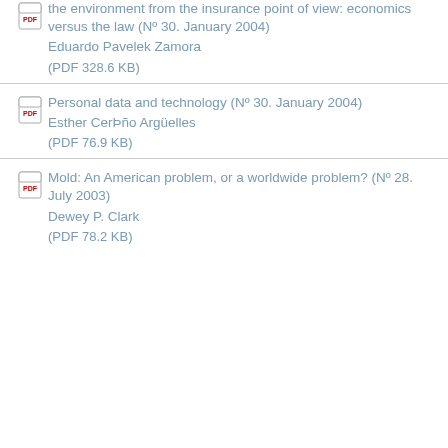the environment from the insurance point of view: economics versus the law (Nº 30. January 2004)
Eduardo Pavelek Zamora
(PDF 328.6 KB)
Personal data and technology (Nº 30. January 2004)
Esther Cerdeño Argüelles
(PDF 76.9 KB)
Mold: An American problem, or a worldwide problem? (Nº 28. July 2003)
Dewey P. Clark
(PDF 78.2 KB)